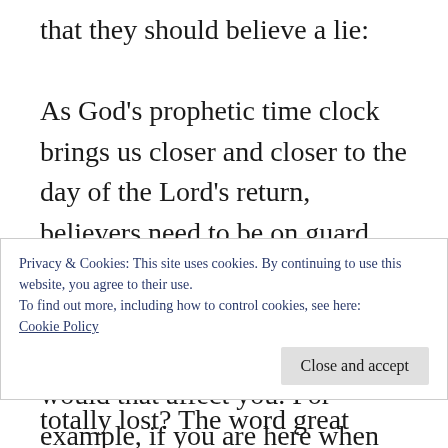that they should believe a lie:

As God's prophetic time clock brings us closer and closer to the day of the Lord's return, believers need to be on guard against false teachers and false teachings. Question; If the rapture teaching is false, how would that affect you. For example, if you are here when Satan is cast down to earth and all hell breaks out, and you are still here! Your beliefs and faith...
Privacy & Cookies: This site uses cookies. By continuing to use this website, you agree to their use.
To find out more, including how to control cookies, see here:
Cookie Policy
totally lost? The word great placed in front of